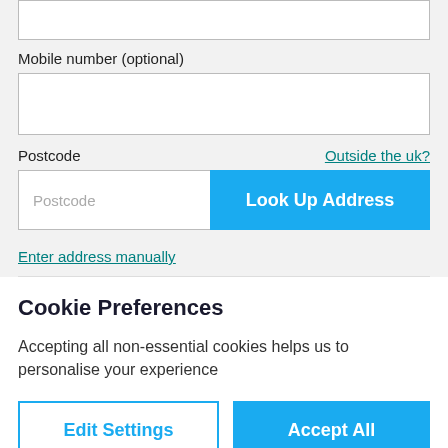Mobile number (optional)
Postcode
Outside the uk?
Postcode
Look Up Address
Enter address manually
Cookie Preferences
Accepting all non-essential cookies helps us to personalise your experience
Edit Settings
Accept All